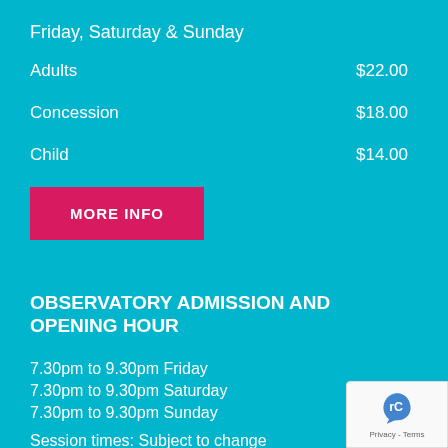Friday, Saturday & Sunday
Adults    $22.00
Concession    $18.00
Child    $14.00
MORE INFO
OBSERVATORY ADMISSION AND OPENING HOUR
7.30pm to 9.30pm Friday
7.30pm to 9.30pm Saturday
7.30pm to 9.30pm Sunday
Session times: Subject to change
Adults    $...